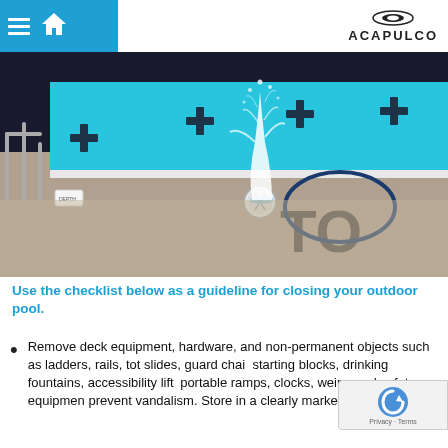Acapulco - navigation header with menu, home, and Acapulco logo
[Figure (photo): Outdoor swimming pool with bright blue water, water geyser shooting up from drain on pool deck, dark plus-sign lane markers on pool walls, circular pool drain cover visible, metal railings on left side, large letters painted on pool floor]
Use the checklist below as a guideline for closing your outdoor pool.
Remove deck equipment, hardware, and non-permanent objects such as ladders, rails, tot slides, guard chains, starting blocks, drinking fountains, accessibility lifts, portable ramps, clocks, weirs, and safety equipment to prevent vandalism. Store in a clearly marked, identifiable